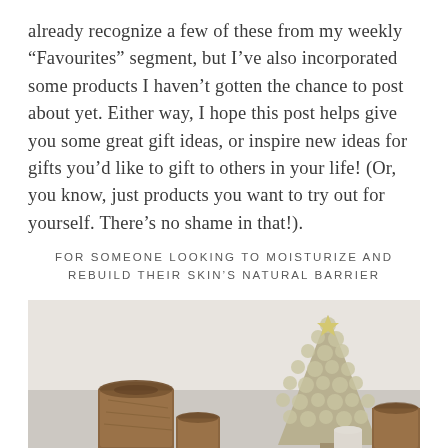already recognize a few of these from my weekly “Favourites” segment, but I’ve also incorporated some products I haven’t gotten the chance to post about yet. Either way, I hope this post helps give you some great gift ideas, or inspire new ideas for gifts you’d like to gift to others in your life! (Or, you know, just products you want to try out for yourself. There’s no shame in that!).
FOR SOMEONE LOOKING TO MOISTURIZE AND REBUILD THEIR SKIN’S NATURAL BARRIER
[Figure (photo): Photo showing decorative items including a ceramic Christmas tree figurine in silver/gold color and wooden log candle holders or vases on a neutral background]